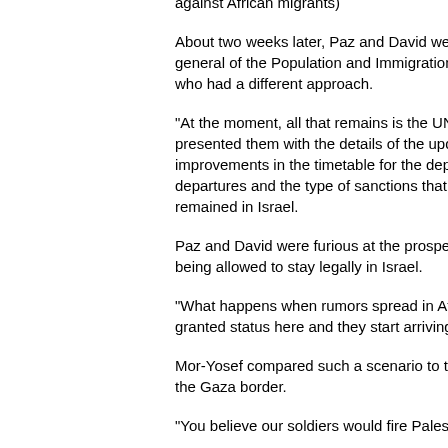against African migrants)
About two weeks later, Paz and David were invited to meet the director general of the Population and Immigration Authority, Amnon Ben-Ami, who had a different approach.
"At the moment, all that remains is the UN outcome. We presented them with the details of the updated plan, including improvements in the timetable for the departures, incentives to encourage departures and the type of sanctions that could be applied to those who remained in Israel.
Paz and David were furious at the prospect of infiltrators being allowed to stay legally in Israel.
"What happens when rumors spread in Africa that they've been granted status here and they start arriving here?"
Mor-Yosef compared such a scenario to the Kerem Shalom crossing at the Gaza border.
"You believe our soldiers would fire Palestinians?"
"Do you see IDF soldiers firing at infiltrators who try to enter?" David asked in response.
"Yes," Mor-Yosef replied.